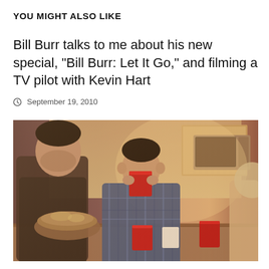YOU MIGHT ALSO LIKE
Bill Burr talks to me about his new special, “Bill Burr: Let It Go,” and filming a TV pilot with Kevin Hart
September 19, 2010
[Figure (photo): A scene from a TV show or film showing young people in a kitchen. A man in a plaid shirt is drinking from a red Solo cup in the center. Another man in a dark shirt stands behind him to the left. Red Solo cups are on the counter. Warm, slightly desaturated tones.]